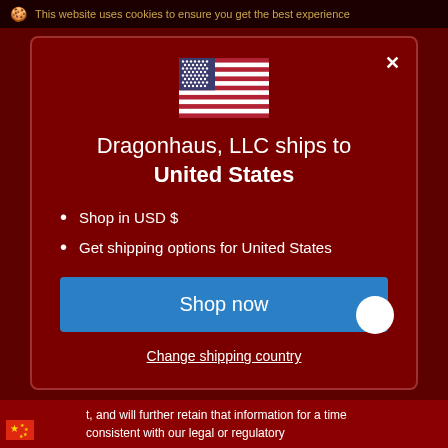This website uses cookies to ensure you get the best experience
[Figure (illustration): US flag emoji in modal dialog]
Dragonhaus, LLC ships to United States
Shop in USD $
Get shipping options for United States
Shop now
Change shipping country
t, and will further retain that information for a time consistent with our legal or regulatory